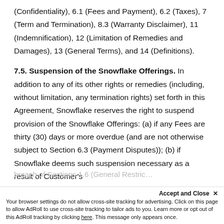(Confidentiality), 6.1 (Fees and Payment), 6.2 (Taxes), 7 (Term and Termination), 8.3 (Warranty Disclaimer), 11 (Indemnification), 12 (Limitation of Remedies and Damages), 13 (General Terms), and 14 (Definitions).
7.5. Suspension of the Snowflake Offerings. In addition to any of its other rights or remedies (including, without limitation, any termination rights) set forth in this Agreement, Snowflake reserves the right to suspend provision of the Snowflake Offerings: (a) if any Fees are thirty (30) days or more overdue (and are not otherwise subject to Section 6.3 (Payment Disputes)); (b) if Snowflake deems such suspension necessary as a result of Customer's
breach of Sections 1.6 (General Restrictions...
Accept and Close ×
Your browser settings do not allow cross-site tracking for advertising. Click on this page to allow AdRoll to use cross-site tracking to tailor ads to you. Learn more or opt out of this AdRoll tracking by clicking here. This message only appears once.